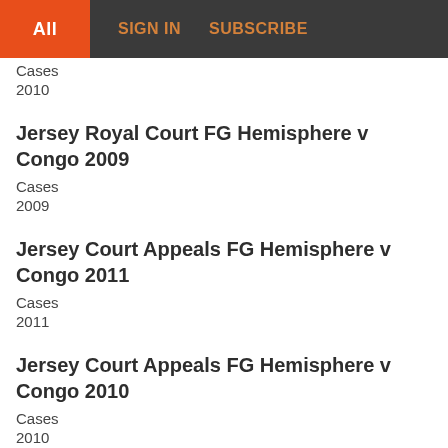All  SIGN IN  SUBSCRIBE
Cases
2010
Jersey Royal Court FG Hemisphere v Congo 2009
Cases
2009
Jersey Court Appeals FG Hemisphere v Congo 2011
Cases
2011
Jersey Court Appeals FG Hemisphere v Congo 2010
Cases
2010